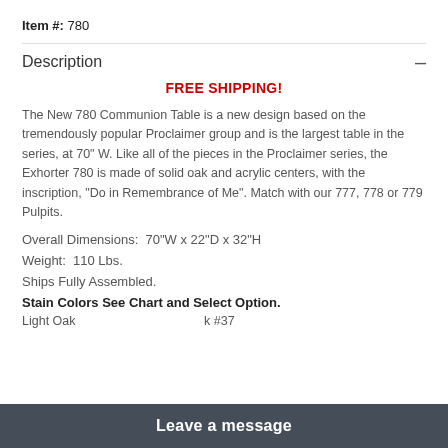Item #: 780
Description –
FREE SHIPPING!
The New 780 Communion Table is a new design based on the tremendously popular Proclaimer group and is the largest table in the series, at 70" W. Like all of the pieces in the Proclaimer series, the Exhorter 780 is made of solid oak and acrylic centers, with the inscription, "Do in Remembrance of Me". Match with our 777, 778 or 779 Pulpits.
Overall Dimensions:  70"W x 22"D x 32"H
Weight:  110 Lbs.
Ships Fully Assembled.
Stain Colors See Chart and Select Option.
Light Oak                                   k #37